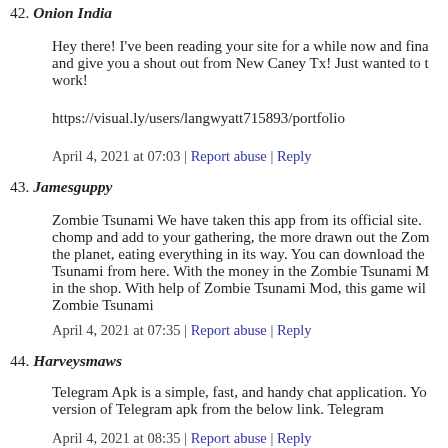42. Onion India
Hey there! I've been reading your site for a while now and fina and give you a shout out from New Caney Tx! Just wanted to t work!
https://visual.ly/users/langwyatt715893/portfolio
April 4, 2021 at 07:03 | Report abuse | Reply
43. Jamesguppy
Zombie Tsunami We have taken this app from its official site. chomp and add to your gathering, the more drawn out the Zom the planet, eating everything in its way. You can download the Tsunami from here. With the money in the Zombie Tsunami M in the shop. With help of Zombie Tsunami Mod, this game wil Zombie Tsunami
April 4, 2021 at 07:35 | Report abuse | Reply
44. Harveysmaws
Telegram Apk is a simple, fast, and handy chat application. Yo version of Telegram apk from the below link. Telegram
April 4, 2021 at 08:35 | Report abuse | Reply
45. TerryNor